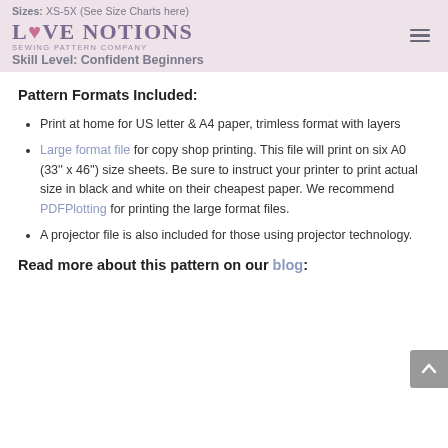Sizes: XS-5X (See Size Charts here)
Skill Level: Confident Beginners
Pattern Formats Included:
Print at home for US letter & A4 paper, trimless format with layers
Large format file for copy shop printing. This file will print on six A0 (33" x 46") size sheets. Be sure to instruct your printer to print actual size in black and white on their cheapest paper. We recommend PDFPlotting for printing the large format files.
A projector file is also included for those using projector technology.
Read more about this pattern on our blog: